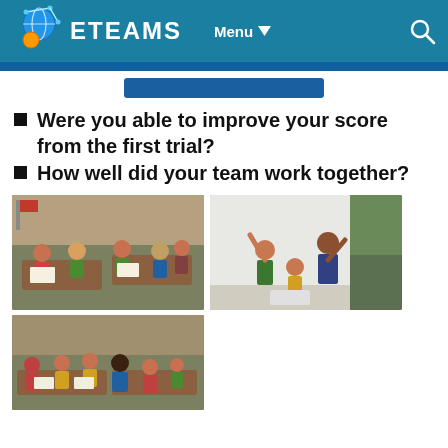ETEAMS | Menu
Were you able to improve your score from the first trial?
How well did your team work together?
[Figure (photo): Children sitting at classroom desks working together in a group activity]
[Figure (photo): Students celebrating with raised fists, standing in front of a whiteboard]
[Figure (photo): Children sitting at tables in a classroom, smiling and working together]